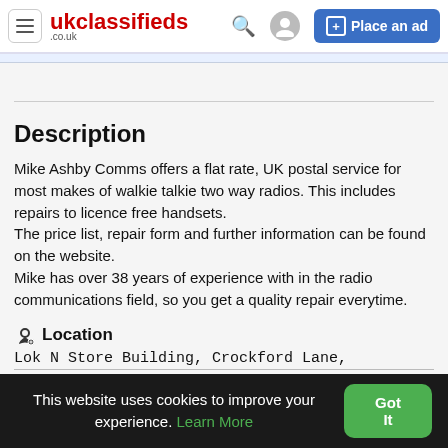ukclassifieds .co.uk | Place an ad
Description
Mike Ashby Comms offers a flat rate, UK postal service for most makes of walkie talkie two way radios. This includes repairs to licence free handsets.
The price list, repair form and further information can be found on the website.
Mike has over 38 years of experience with in the radio communications field, so you get a quality repair everytime.
Location
Lok N Store Building, Crockford Lane,
This website uses cookies to improve your experience. Learn More